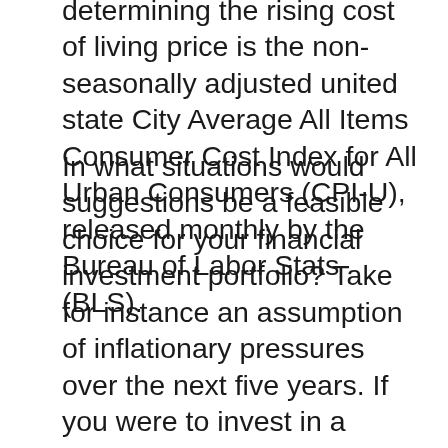determining the rising cost of living price is the non-seasonally adjusted united state City Average All Items Consumer Cost Index for All Urban Consumers (CPI-U), released monthly by the Bureau of Labor Stats (BLS).
In what situations would suggestions be a feasible choice for your financial investment portfolio? Take for instance an assumption of inflationary pressures over the next five years. If you were to invest in a profile of pointers, as inflation happens the principal worth of the pointers increases to compensate you for the inflationary stress. Your discount coupon settlement remains the same, however your TIPS primary investment is worth a lot more.